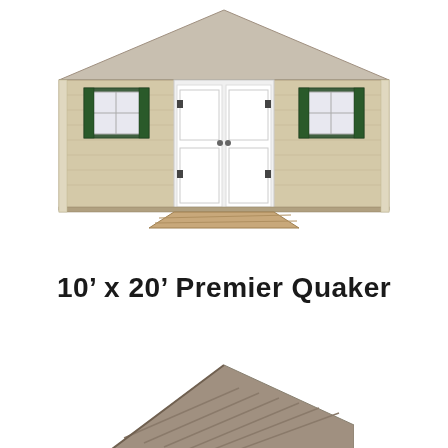[Figure (photo): Front view of a 10 by 20 Premier Quaker shed with beige siding, green shutters, double white doors, and a wooden ramp]
10’ x 20’ Premier Quaker
[Figure (photo): Partial view of a shed roof with gray shingles and white trim, showing the corner eave detail]